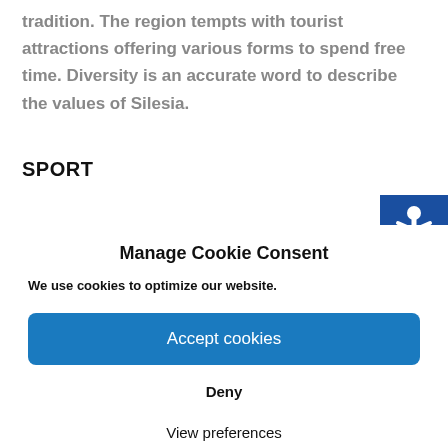tradition. The region tempts with tourist attractions offering various forms to spend free time. Diversity is an accurate word to describe the values of Silesia.
SPORT
[Figure (other): Blue accessibility icon button partially visible at top right corner]
Manage Cookie Consent
We use cookies to optimize our website.
Accept cookies
Deny
View preferences